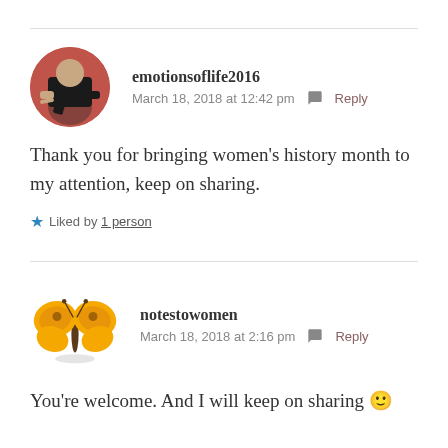emotionsoflife2016
March 18, 2018 at 12:42 pm  Reply
Thank you for bringing women's history month to my attention, keep on sharing.
Liked by 1 person
notestowomen
March 18, 2018 at 2:16 pm  Reply
You're welcome. And I will keep on sharing 🙂